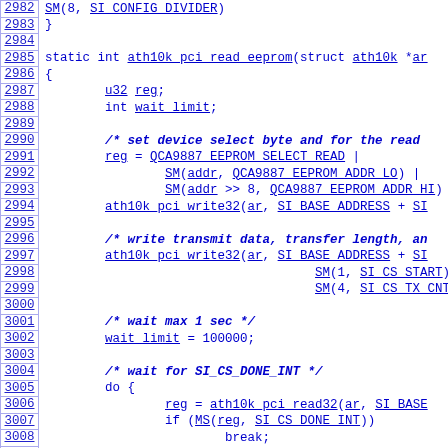[Figure (screenshot): Source code listing with line numbers from 2982 to 3011, showing C code for ath10k_pci_read_eeprom function including register setup, transmit data write, wait loop with udelay.]